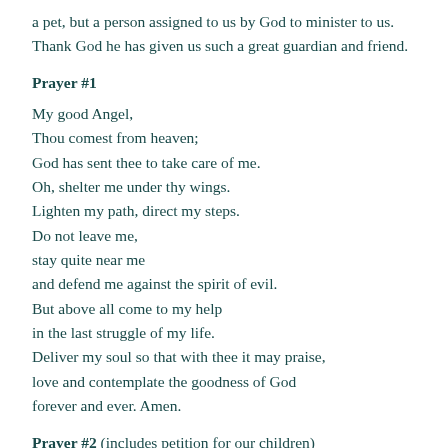a pet, but a person assigned to us by God to minister to us. Thank God he has given us such a great guardian and friend.
Prayer #1
My good Angel,
Thou comest from heaven;
God has sent thee to take care of me.
Oh, shelter me under thy wings.
Lighten my path, direct my steps.
Do not leave me,
stay quite near me
and defend me against the spirit of evil.
But above all come to my help
in the last struggle of my life.
Deliver my soul so that with thee it may praise,
love and contemplate the goodness of God
forever and ever. Amen.
Prayer #2 (includes petition for our children)
Heavenly Father, Your infinite love for us has chosen a blessed angel in heaven and appointed him to watch over us.